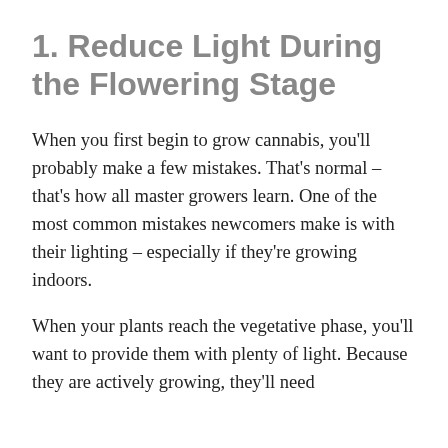1. Reduce Light During the Flowering Stage
When you first begin to grow cannabis, you'll probably make a few mistakes. That's normal – that's how all master growers learn. One of the most common mistakes newcomers make is with their lighting – especially if they're growing indoors.
When your plants reach the vegetative phase, you'll want to provide them with plenty of light. Because they are actively growing, they'll need